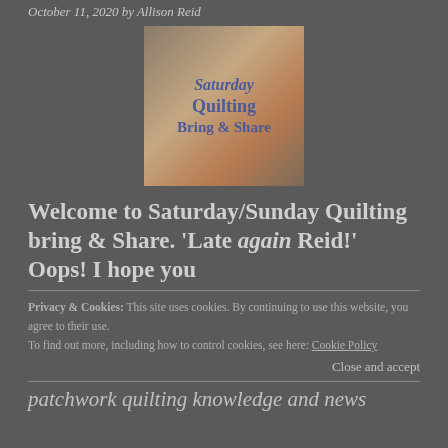October 11, 2020 by Allison Reid
[Figure (illustration): Saturday Quilting Bring & Share logo image with text on a warm-toned background with a circular quilt-like design]
Welcome to Saturday/Sunday Quilting bring & Share. 'Late again Reid!' Oops! I hope you
Privacy & Cookies: This site uses cookies. By continuing to use this website, you agree to their use.
To find out more, including how to control cookies, see here: Cookie Policy
Close and accept
patchwork quilting knowledge and news